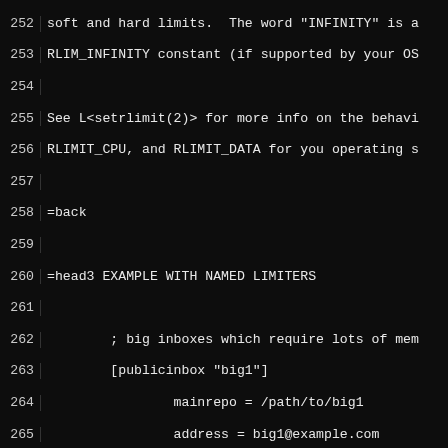Code listing lines 252–282 showing publicinbox configuration with named limiters example